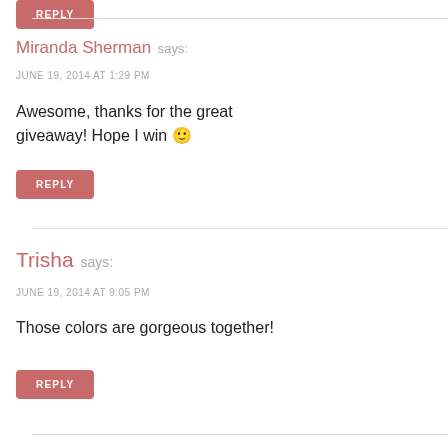REPLY
Miranda Sherman says:
JUNE 19, 2014 AT 1:29 PM
Awesome, thanks for the great giveaway! Hope I win 🙂
REPLY
Trisha says:
JUNE 19, 2014 AT 9:05 PM
Those colors are gorgeous together!
REPLY